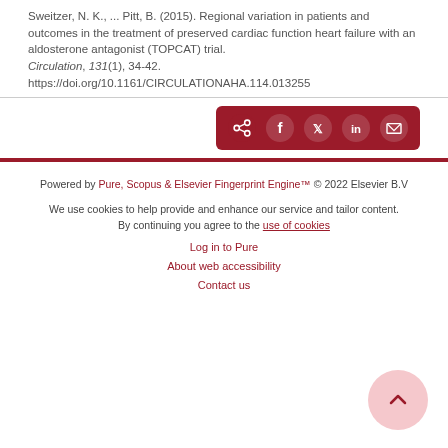Sweitzer, N. K., ... Pitt, B. (2015). Regional variation in patients and outcomes in the treatment of preserved cardiac function heart failure with an aldosterone antagonist (TOPCAT) trial. Circulation, 131(1), 34-42. https://doi.org/10.1161/CIRCULATIONAHA.114.013255
[Figure (other): Share buttons row: share icon, Facebook, Twitter, LinkedIn, Email icons on dark red background]
Powered by Pure, Scopus & Elsevier Fingerprint Engine™ © 2022 Elsevier B.V
We use cookies to help provide and enhance our service and tailor content. By continuing you agree to the use of cookies
Log in to Pure
About web accessibility
Contact us